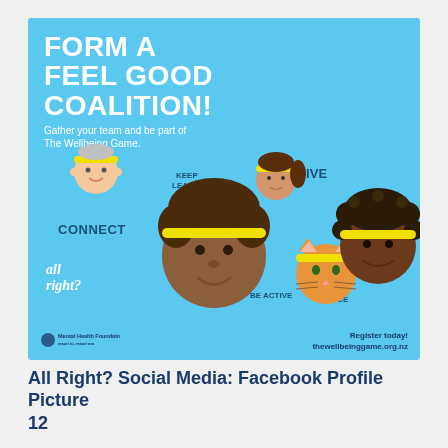[Figure (illustration): A square social media graphic with a sky-blue background. Bold white text at top reads 'FORM A FEEL GOOD COALITION!' with subtitle 'Gather your team and be part of The Wellbeing Game.' Below are illustrated cartoon faces and a cat with yellow headbands, labeled with wellbeing actions: CONNECT, KEEP LEARNING, GIVE, BE ACTIVE, TAKE NOTICE, and 'all right?' branding. Footer shows Mental Health Foundation logo on left and 'Register today! thewellbeinggame.org.nz' on right.]
All Right? Social Media: Facebook Profile Picture 12